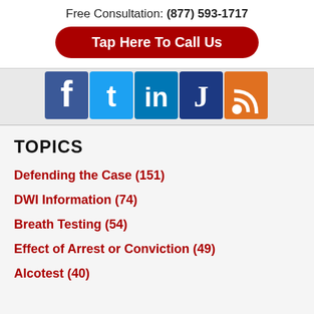Free Consultation: (877) 593-1717
Tap Here To Call Us
[Figure (other): Social media icons: Facebook, Twitter, LinkedIn, Justia, RSS feed]
TOPICS
Defending the Case (151)
DWI Information (74)
Breath Testing (54)
Effect of Arrest or Conviction (49)
Alcotest (40)